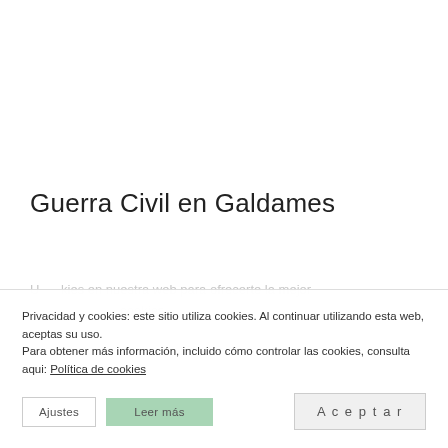Guerra Civil en Galdames
Privacidad y cookies: este sitio utiliza cookies. Al continuar utilizando esta web, aceptas su uso.
Para obtener más información, incluido cómo controlar las cookies, consulta aqui: Política de cookies